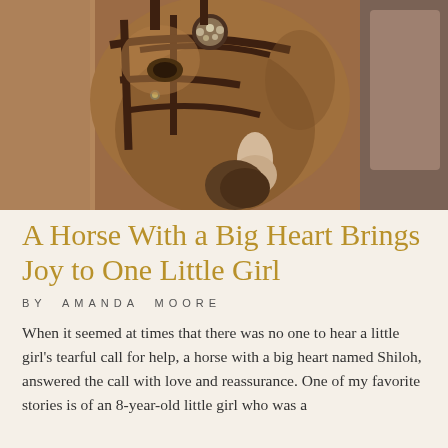[Figure (photo): Close-up photograph of a chestnut horse's head wearing a bridle with decorative browband jewelry, facing slightly downward, with a white blaze on its face visible.]
A Horse With a Big Heart Brings Joy to One Little Girl
BY AMANDA MOORE
When it seemed at times that there was no one to hear a little girl's tearful call for help, a horse with a big heart named Shiloh, answered the call with love and reassurance. One of my favorite stories is of an 8-year-old little girl who was a